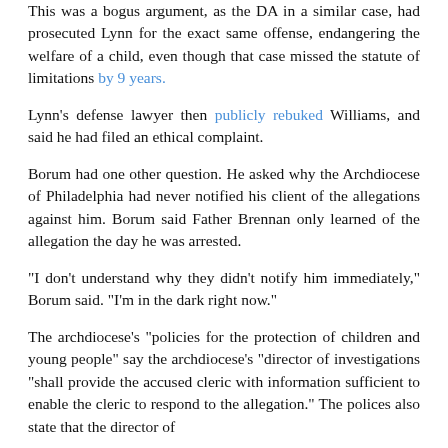This was a bogus argument, as the DA in a similar case, had prosecuted Lynn for the exact same offense, endangering the welfare of a child, even though that case missed the statute of limitations by 9 years.
Lynn's defense lawyer then publicly rebuked Williams, and said he had filed an ethical complaint.
Borum had one other question. He asked why the Archdiocese of Philadelphia had never notified his client of the allegations against him. Borum said Father Brennan only learned of the allegation the day he was arrested.
"I don't understand why they didn't notify him immediately," Borum said. "I'm in the dark right now."
The archdiocese's "policies for the protection of children and young people" say the archdiocese's "director of investigations "shall provide the accused cleric with information sufficient to enable the cleric to respond to the allegation." The polices also state that the director of